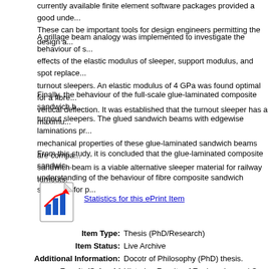currently available finite element software packages provided a good understanding. These can be important tools for design engineers permitting the design and...
A grillage beam analogy was implemented to investigate the behaviour of sleepers, effects of the elastic modulus of sleeper, support modulus, and spot replacement of turnout sleepers. An elastic modulus of 4 GPa was found optimal for a fibre composite vertical deflection. It was established that the turnout sleeper has a maximum...
Finally, the behaviour of the full-scale glue-laminated composite sandwich beams as turnout sleepers. The glued sandwich beams with edgewise laminations present better mechanical properties of these glue-laminated sandwich beams are comparable. The sandwich beam is a viable alternative sleeper material for railway turnouts.
From this study, it is concluded that the glue-laminated composite sandwich beam understanding of the behaviour of fibre composite sandwich structures for p...
[Figure (other): Bar chart statistics icon with red upward arrow]
Statistics for this ePrint Item
| Label | Value |
| --- | --- |
| Item Type: | Thesis (PhD/Research) |
| Item Status: | Live Archive |
| Additional Information: | Docotr of Philosophy (PhD) thesis. |
| Faculty/School / Institute/Centre: | Historic - Faculty of Engineering and S... 2013) |
| Faculty/School / Institute/Centre: | Historic - Faculty of Engineering and S... 2013) |